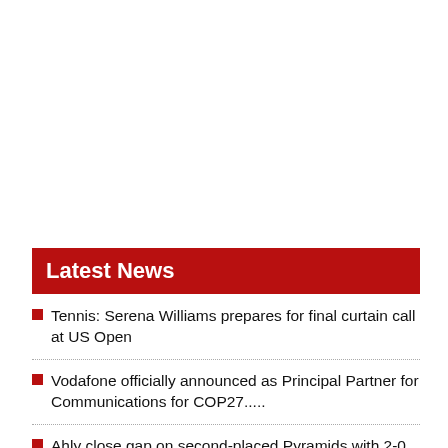Latest News
Tennis: Serena Williams prepares for final curtain call at US Open
Vodafone officially announced as Principal Partner for Communications for COP27.....
Ahly close gap on second-placed Pyramids with 2-0 win over Enppi
Man United's Ivorian defender Eric Bailly joins Marseille